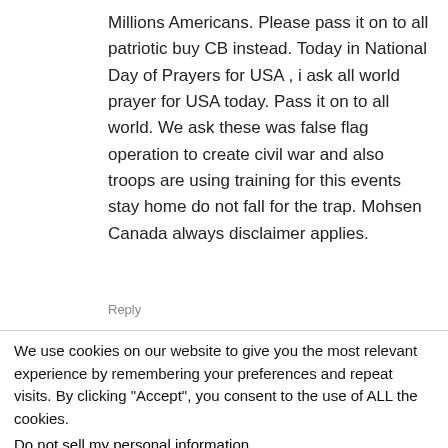Millions Americans. Please pass it on to all patriotic buy CB instead. Today in National Day of Prayers for USA , i ask all world prayer for USA today. Pass it on to all world. We ask these was false flag operation to create civil war and also troops are using training for this events stay home do not fall for the trap. Mohsen Canada always disclaimer applies.
Reply
We use cookies on our website to give you the most relevant experience by remembering your preferences and repeat visits. By clicking "Accept", you consent to the use of ALL the cookies.
Do not sell my personal information.